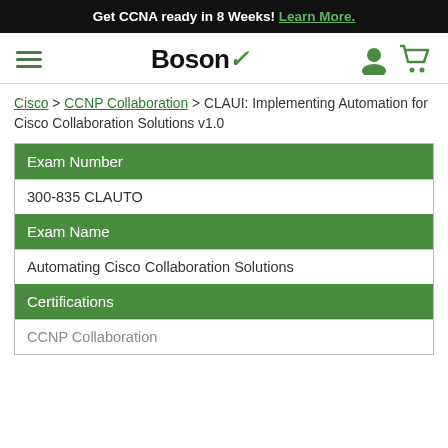Get CCNA ready in 8 Weeks! Learn More.
[Figure (logo): Boson logo with hamburger menu, user icon, and cart icon in navigation bar]
Cisco > CCNP Collaboration > CLAUI: Implementing Automation for Cisco Collaboration Solutions v1.0
| Exam Number | 300-835 CLAUTO | Exam Name | Automating Cisco Collaboration Solutions | Certifications | CCNP Collaboration |
| --- | --- | --- | --- | --- | --- |
| Exam Number |
| 300-835 CLAUTO |
| Exam Name |
| Automating Cisco Collaboration Solutions |
| Certifications |
| CCNP Collaboration |